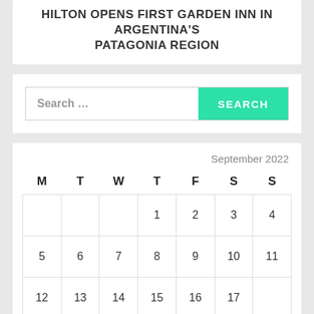HILTON OPENS FIRST GARDEN INN IN ARGENTINA'S PATAGONIA REGION
Search ...
| M | T | W | T | F | S | S |
| --- | --- | --- | --- | --- | --- | --- |
|  |  |  | 1 | 2 | 3 | 4 |
| 5 | 6 | 7 | 8 | 9 | 10 | 11 |
| 12 | 13 | 14 | 15 | 16 | 17 | 18 |
| 19 | 20 | 21 | 22 | 23 | 24 | 25 |